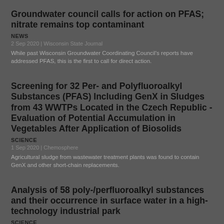Groundwater council calls for action on PFAS; nitrate remains top contaminant
NEWS
2 Sep 2020 | Wisconsin State Journal
While past Wisconsin Groundwater Coordinating Council's reports have addressed PFAS, this is the first to call for direct action.
Screening for 32 Per- and Polyfluoroalkyl Substances (PFAS) Including GenX in Sludges from 43 WWTPs Located in the Czech Republic - Evaluation of Potential Accumulation in Vegetables After Application of Biosolids
SCIENCE
1 Sep 2020 | Chemosphere
Agricultural sludge from wastewater treatment plants was found to contain GenX and other short-chain replacements.
Analysis of 58 poly-/perfluoroalkyl substances and their occurrence in surface water in a high-technology industrial park
SCIENCE